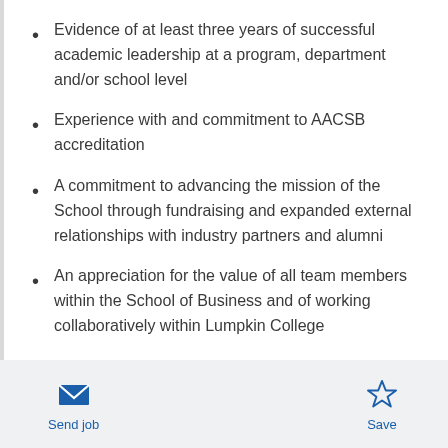Evidence of at least three years of successful academic leadership at a program, department and/or school level
Experience with and commitment to AACSB accreditation
A commitment to advancing the mission of the School through fundraising and expanded external relationships with industry partners and alumni
An appreciation for the value of all team members within the School of Business and of working collaboratively within Lumpkin College
Send job   Save